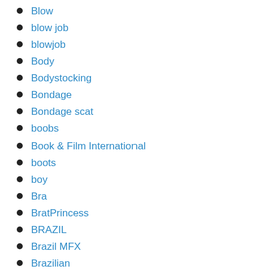Blow
blow job
blowjob
Body
Bodystocking
Bondage
Bondage scat
boobs
Book & Film International
boots
boy
Bra
BratPrincess
BRAZIL
Brazil MFX
Brazilian
Brazilian hardcore